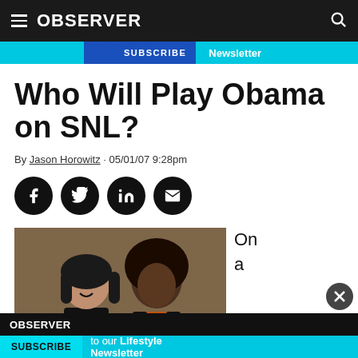OBSERVER
SUBSCRIBE Newsletter
Who Will Play Obama on SNL?
By Jason Horowitz · 05/01/07 9:28pm
[Figure (other): Social share icons: Facebook, Twitter, LinkedIn, Email]
[Figure (photo): Two people in a scene, a woman with dark hair and a man with an afro wearing an orange and black outfit]
On a
OBSERVER SUBSCRIBE to our Lifestyle Newsletter